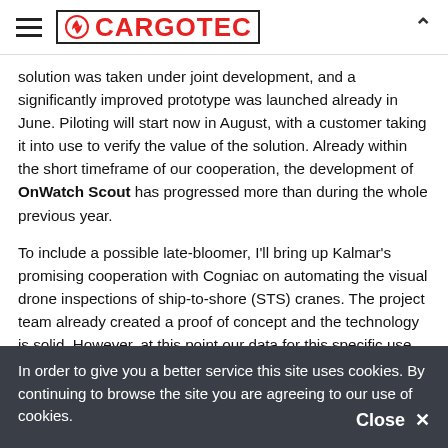CARGOTEC
solution was taken under joint development, and a significantly improved prototype was launched already in June. Piloting will start now in August, with a customer taking it into use to verify the value of the solution. Already within the short timeframe of our cooperation, the development of OnWatch Scout has progressed more than during the whole previous year.
To include a possible late-bloomer, I'll bring up Kalmar's promising cooperation with Cogniac on automating the visual drone inspections of ship-to-shore (STS) cranes. The project team already created a proof of concept and the technology is solid. However, at this point our data for this specific use case is not of adequate quality to turn it into a working solution. Therefore collaboration is on hold - at least for now. Both parties have learned what it takes to take development strides in this area and
In order to give you a better service this site uses cookies. By continuing to browse the site you are agreeing to our use of cookies.